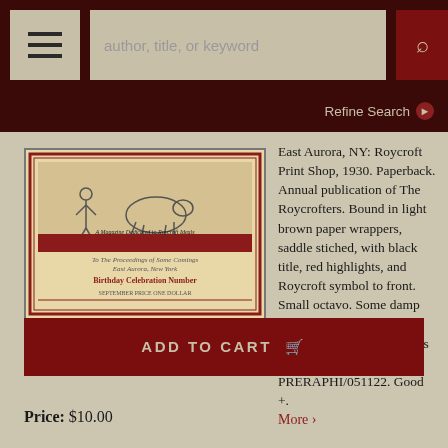[Figure (screenshot): Website navigation bar with hamburger menu, search box with placeholder text 'author, title, or keyword', and search button]
[Figure (photo): Book cover thumbnail showing a Roycroft publication with decorative border, title text 'Birthday Celebration Number', and illustration]
East Aurora, NY: Roycroft Print Shop, 1930. Paperback. Annual publication of The Roycrofters. Bound in light brown paper wrappers, saddle stiched, with black title, red highlights, and Roycroft symbol to front. Small octavo. Some damp staining to pages. Small section of back wrapper has been ripped off. 40 pages. PRERAPHI/051122. Good +.
More >
ADD TO CART
Price: $10.00